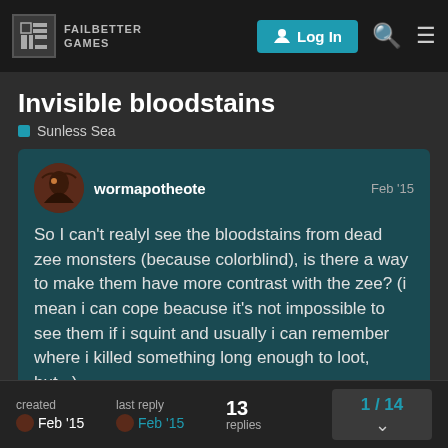Failbetter Games — Log In
Invisible bloodstains
Sunless Sea
wormapotheote — Feb '15
So I can't realyl see the bloodstains from dead zee monsters (because colorblind), is there a way to make them have more contrast with the zee? (i mean i can cope beacuse it's not impossible to see them if i squint and usually i can remember where i killed something long enough to loot, but...)
created Feb '15 | last reply Feb '15 | 13 replies | 1 / 14